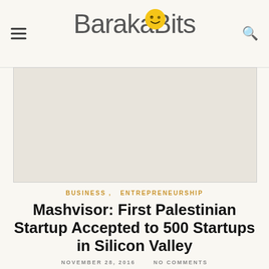BarakaBits
[Figure (photo): Large image placeholder area for article hero image]
BUSINESS , ENTREPRENEURSHIP
Mashvisor: First Palestinian Startup Accepted to 500 Startups in Silicon Valley
NOVEMBER 28, 2016   NO COMMENTS